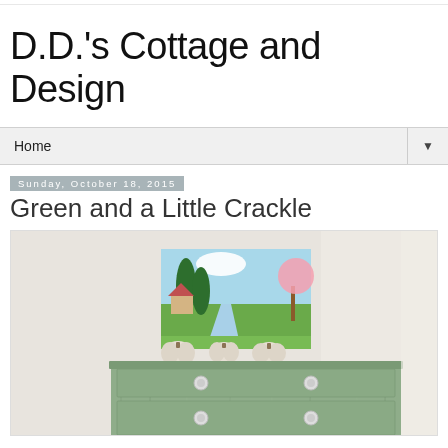D.D.'s Cottage and Design
Home
Sunday, October 18, 2015
Green and a Little Crackle
[Figure (photo): A distressed green dresser/chest of drawers with white ceramic knobs, topped with three white decorative pumpkins and a landscape painting depicting a cottage scene with trees, river, and flowering tree.]